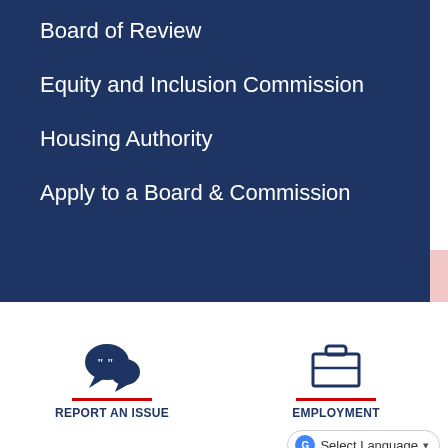Board of Review
Equity and Inclusion Commission
Housing Authority
Apply to a Board & Commission
[Figure (illustration): Two speech bubbles with quotation marks icon representing Report an Issue]
REPORT AN ISSUE
[Figure (illustration): Briefcase/suitcase icon representing Employment]
EMPLOYMENT
Select Language